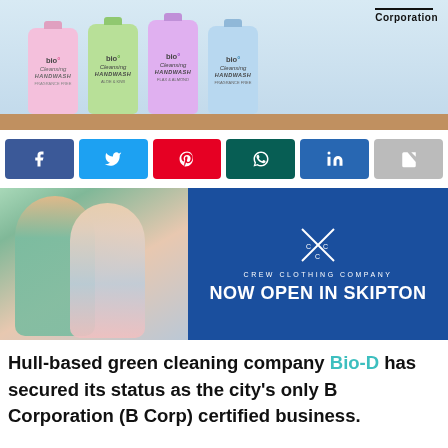[Figure (photo): Product photo showing four Bio-D Cleansing Handwash bottles in pink, green, purple, and light blue colors on a wooden shelf, with a B Corporation badge in the top right corner.]
[Figure (screenshot): Social media share buttons row: Facebook (blue), Twitter (light blue), Pinterest (red), WhatsApp (dark green), LinkedIn (blue), Share (grey).]
[Figure (photo): Advertisement banner for Crew Clothing Company. Left side shows a man and woman in casual clothing. Right side is blue with Crew Clothing Company logo and text 'NOW OPEN IN SKIPTON'.]
Hull-based green cleaning company Bio-D has secured its status as the city's only B Corporation (B Corp) certified business.